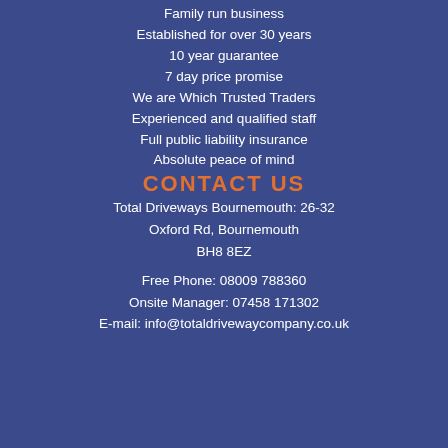Family run business
Established for over 30 years
10 year guarantee
7 day price promise
We are Which Trusted Traders
Experienced and qualified staff
Full public liability insurance
Absolute peace of mind
CONTACT US
Total Driveways Bournemouth: 26-32
Oxford Rd, Bournemouth
BH8 8EZ
Free Phone: 08009 788360
Onsite Manager: 07458 171302
E-mail: info@totaldrivewaycompany.co.uk